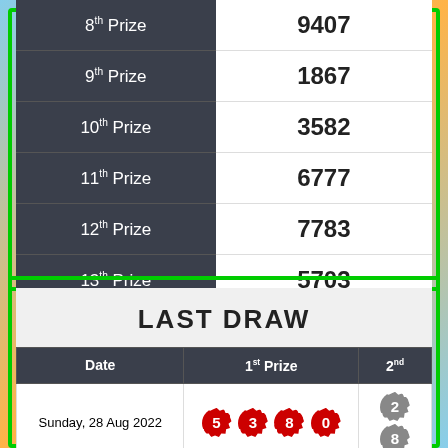| Prize | Number |
| --- | --- |
| 8th Prize | 9407 |
| 9th Prize | 1867 |
| 10th Prize | 3582 |
| 11th Prize | 6777 |
| 12th Prize | 7783 |
| 13th Prize | 5703 |
LAST DRAW
| Date | 1st Prize | 2nd |
| --- | --- | --- |
| Sunday, 28 Aug 2022 | 5 3 8 0 | 2 8 |
| Saturday, 27 Aug 2022 | 1 0 4 0 | 8 4 |